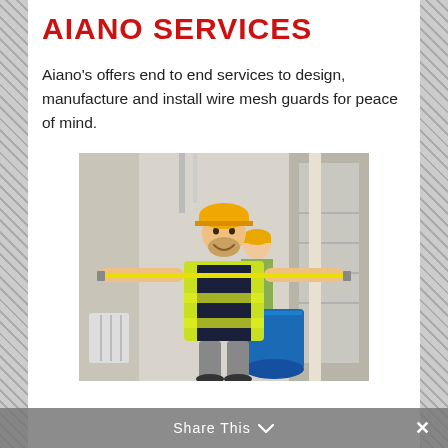AIANO SERVICES
Aiano's offers end to end services to design, manufacture and install wire mesh guards for peace of mind.
[Figure (photo): Two workers wearing high-visibility yellow vests and yellow hard hats. The front worker is smiling and stretching a yellow tape measure wide with both arms outstretched. A blue barrel and staircase are visible in the background.]